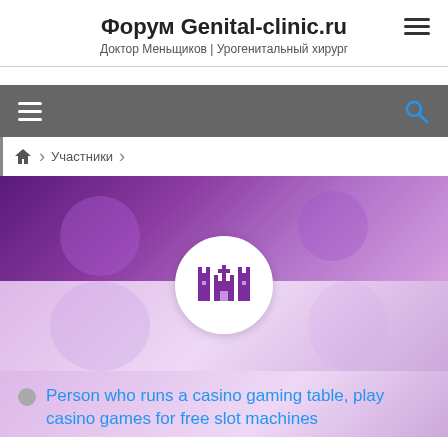Форум Genital-clinic.ru
Доктор Меньщиков | Урогенитальный хирург
[Figure (screenshot): Navigation bar with hamburger menu icon on left and search icon on right, dark grey background]
Участники
[Figure (illustration): Forum user profile banner with purple gradient background, circular avatar with pixel-art castle/tower icon in purple, and status text below]
Person who runs a casino gaming table, play casino games for free slot machines